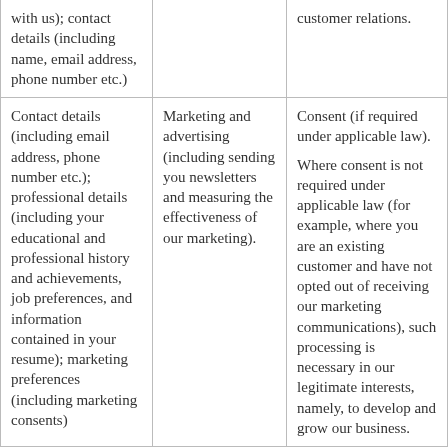| with us); contact details (including name, email address, phone number etc.) |  | customer relations. |
| Contact details (including email address, phone number etc.); professional details (including your educational and professional history and achievements, job preferences, and information contained in your resume); marketing preferences (including marketing consents) | Marketing and advertising (including sending you newsletters and measuring the effectiveness of our marketing). | Consent (if required under applicable law).

Where consent is not required under applicable law (for example, where you are an existing customer and have not opted out of receiving our marketing communications), such processing is necessary in our legitimate interests, namely, to develop and grow our business. |